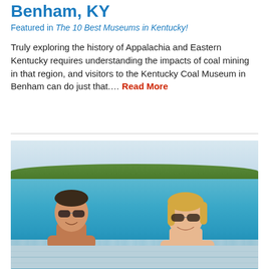Benham, KY
Featured in The 10 Best Museums in Kentucky!
Truly exploring the history of Appalachia and Eastern Kentucky requires understanding the impacts of coal mining in that region, and visitors to the Kentucky Coal Museum in Benham can do just that.... Read More
[Figure (photo): Two people (a man and a woman) smiling at the edge of an outdoor swimming pool, both wearing sunglasses, with trees and a resort pool area in the background on a sunny day.]